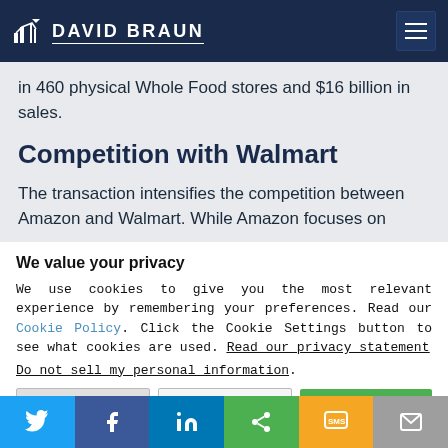DAVID BRAUN
in 460 physical Whole Food stores and $16 billion in sales.
Competition with Walmart
The transaction intensifies the competition between Amazon and Walmart. While Amazon focuses on
We value your privacy
We use cookies to give you the most relevant experience by remembering your preferences. Read our Cookie Policy. Click the Cookie Settings button to see what cookies are used. Read our privacy statement
Do not sell my personal information.